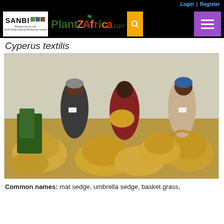Login | Register
[Figure (logo): SANBI Biodiversity for Life / South African National Biodiversity Institute logo and PlantZAfrica.com logo with search and hamburger menu icons on black bar]
Cyperus textilis
[Figure (photo): Three women weaving baskets surrounded by many woven baskets and grass material]
Common names: mat sedge, umbrella sedge, basket grass, ...